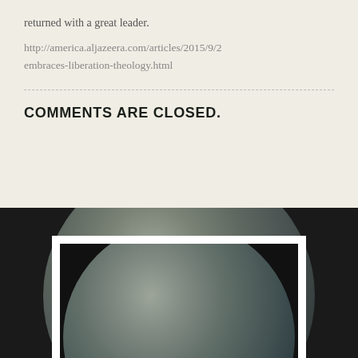returned with a great leader.
http://america.aljazeera.com/articles/2015/9/2
embraces-liberation-theology.html
COMMENTS ARE CLOSED.
[Figure (photo): A large stone or rock sphere photographed against a dark background, shown both behind and inside a white rectangular frame. A small white circle is partially visible at the bottom inside the frame.]